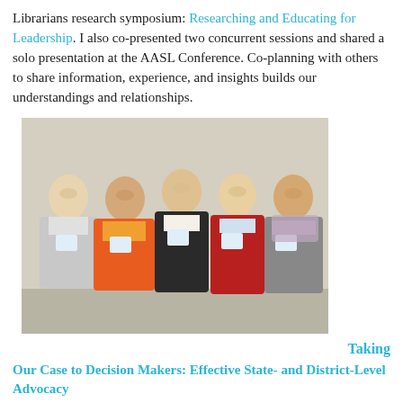Librarians research symposium: Researching and Educating for Leadership. I also co-presented two concurrent sessions and shared a solo presentation at the AASL Conference. Co-planning with others to share information, experience, and insights builds our understandings and relationships.
[Figure (photo): Group photo of five women standing together, wearing conference name badges, in front of a white/cream wall. The women are dressed in various colors including gray, floral, black, red, and gray. They are smiling at the camera.]
Taking Our Case to Decision Makers: Effective State- and District-Level Advocacy